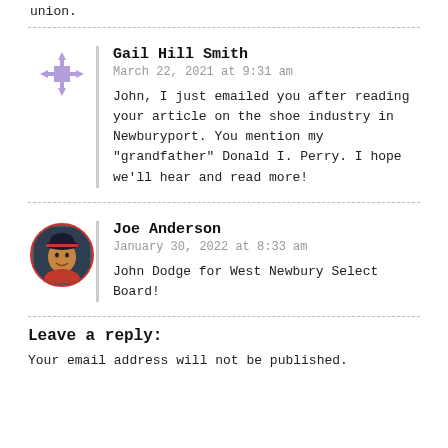union.
Gail Hill Smith
March 22, 2021 at 9:31 am
John, I just emailed you after reading your article on the shoe industry in Newburyport. You mention my "grandfather" Donald I. Perry. I hope we'll hear and read more!
Joe Anderson
January 30, 2022 at 8:33 am
John Dodge for West Newbury Select Board!
Leave a reply:
Your email address will not be published.